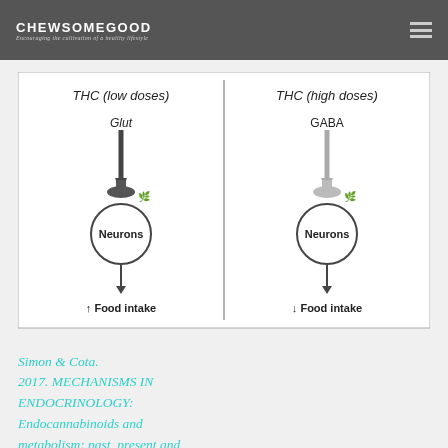CHEWSOMEGOOD — Encouraging the cultivation of a healthy lifestyle
[Figure (schematic): Two-panel diagram illustrating THC dose effects on neurons and food intake. Left panel: THC (low doses) activates Glut (glutamate), arrow down to a synapse onto Neurons (circle), arrow down shows increased Food intake (↑). Right panel: THC (high doses) activates GABA, arrow down to synapse onto Neurons (circle), arrow down shows decreased Food intake (↓). Panels separated by vertical line.]
Simon & Cota. 2017. MECHANISMS IN ENDOCRINOLOGY: Endocannabinoids and metabolism: past, present and future.